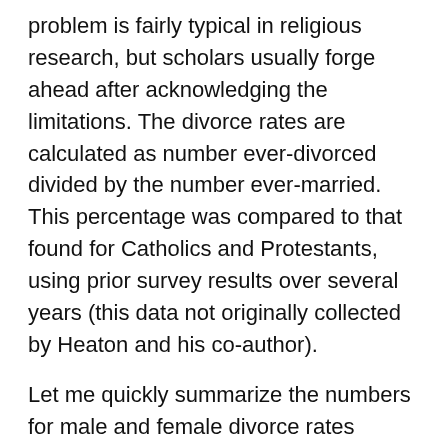problem is fairly typical in religious research, but scholars usually forge ahead after acknowledging the limitations. The divorce rates are calculated as number ever-divorced divided by the number ever-married. This percentage was compared to that found for Catholics and Protestants, using prior survey results over several years (this data not originally collected by Heaton and his co-author).
Let me quickly summarize the numbers for male and female divorce rates calculated this way:
Catholic: 19.8/23.1
Liberal Protestant: 24.4/30.8
Conservative Protestant: 27.7/30.9
Mormon (total): 14.3/18.8